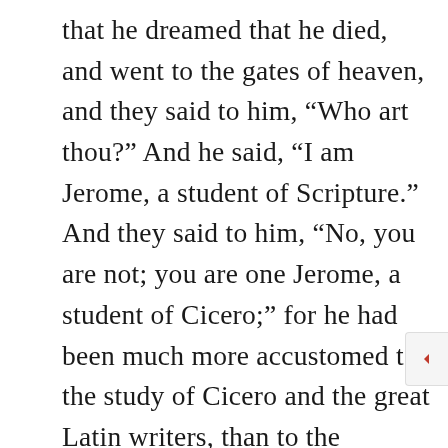that he dreamed that he died, and went to the gates of heaven, and they said to him, “Who art thou?” And he said, “I am Jerome, a student of Scripture.” And they said to him, “No, you are not; you are one Jerome, a student of Cicero;” for he had been much more accustomed to the study of Cicero and the great Latin writers, than to the reading of the Scriptures. He dreamed that, therefore, he was not permitted to enter heaven; and upon waking from his dream he put aside his classic books to make the Word of God the